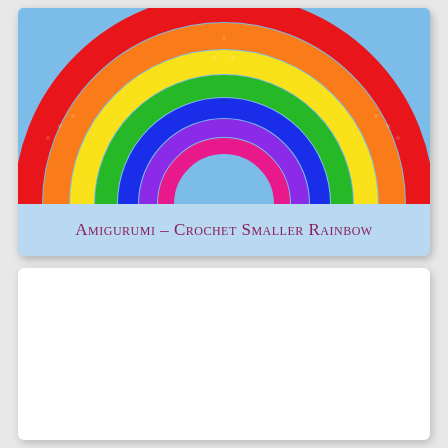[Figure (photo): A crocheted amigurumi rainbow with colorful arched bands (red, orange, yellow, green, blue, purple, pink) on a light blue background. The rainbow is a stuffed flat semicircle shape photographed from the front.]
Amigurumi – Crochet Smaller Rainbow